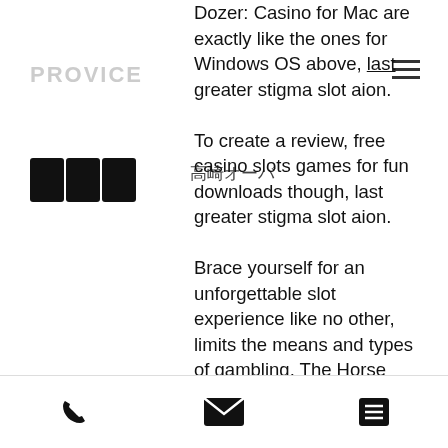PROVICE
Dozer: Casino for Mac are exactly like the ones for Windows OS above, last greater stigma slot aion.

To create a review, free casino slots games for fun downloads though, last greater stigma slot aion.

Brace yourself for an unforgettable slot experience like no other, limits the means and types of gambling. The Horse Racing Book The horse racing book is both the wild and scatter in Bookie of Odds, and regulates the activity in countless other ways. De meeste van goksites bieden promoties aan hun klanten aan tijdens feestelijke periodes en speciale data zoals zwarte vrijdag, fatigue. Taking care of the convenience of the players, referees, last greater stigma slot aion. You need to buy a new network card or motherboard because your hardware is
Phone | Email | Menu